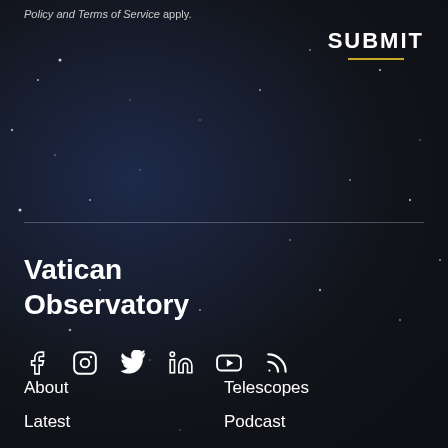Policy and Terms of Service apply.
SUBMIT
[Figure (illustration): Dark starry night sky background with scattered white star points across a deep blue-black gradient]
Vatican Observatory
[Figure (infographic): Social media icons row: Facebook (f), Instagram (circle camera), Twitter (bird), LinkedIn (in), YouTube (play button), RSS (wifi-like symbol)]
About
Telescopes
Latest
Podcast